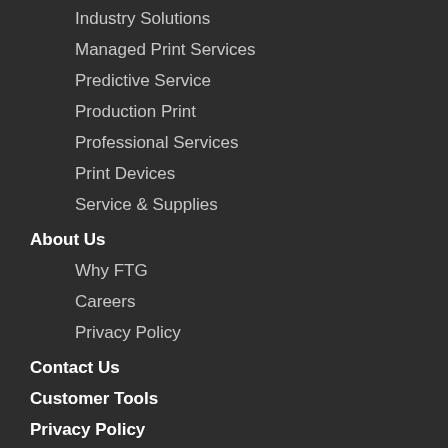Industry Solutions
Managed Print Services
Predictive Service
Production Print
Professional Services
Print Devices
Service & Supplies
About Us
Why FTG
Careers
Privacy Policy
Contact Us
Customer Tools
Privacy Policy
Get in Touch